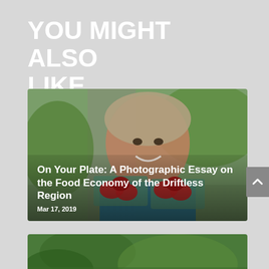YOU MIGHT ALSO LIKE
[Figure (photo): Woman smiling holding baskets of strawberries on a road, with article title overlay: On Your Plate: A Photographic Essay on the Food Economy of the Driftless Region, dated Mar 17, 2019]
[Figure (photo): Partial image of greenery/vegetation, second article card cropped at bottom of page]